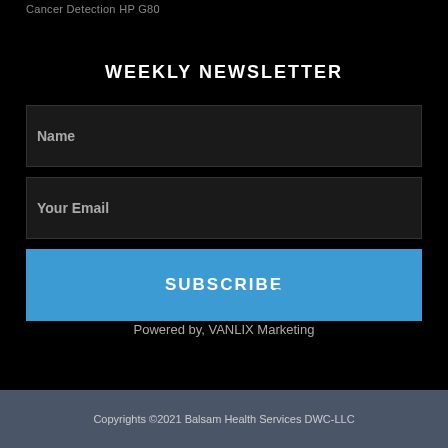Cancer Detection HP G80
WEEKLY NEWSLETTER
Name
Your Email
SUBSCRIBE
800BALSAM (free)
Powered by, VANLIX Marketing
Copyrights ©2021 Balsam Health Services DWC-LLC